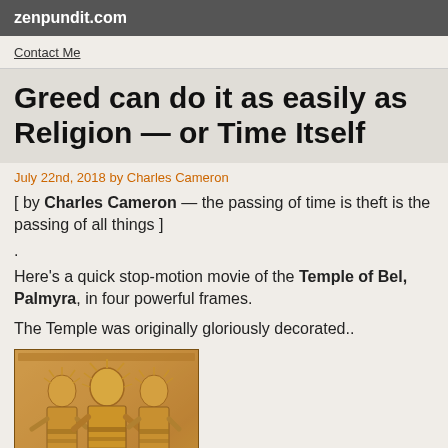zenpundit.com
Contact Me
Greed can do it as easily as Religion — or Time Itself
July 22nd, 2018 by Charles Cameron
[ by Charles Cameron — the passing of time is theft is the passing of all things ]
.
Here's a quick stop-motion movie of the Temple of Bel, Palmyra, in four powerful frames.
The Temple was originally gloriously decorated..
[Figure (photo): Stone relief carving showing three decorated figures with radiate crowns or halos, carved in a tan/golden stone, from the Temple of Bel, Palmyra]